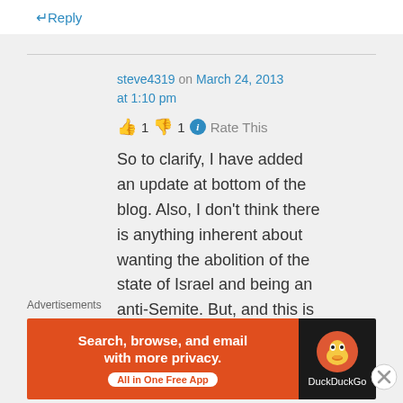↵ Reply
steve4319 on March 24, 2013 at 1:10 pm
👍 1 👎 1 ℹ Rate This
So to clarify, I have added an update at bottom of the blog. Also, I don't think there is anything inherent about wanting the abolition of the state of Israel and being an anti-Semite. But, and this is
Advertisements
[Figure (screenshot): DuckDuckGo advertisement banner: orange left panel with text 'Search, browse, and email with more privacy. All in One Free App', dark right panel with DuckDuckGo logo and name]